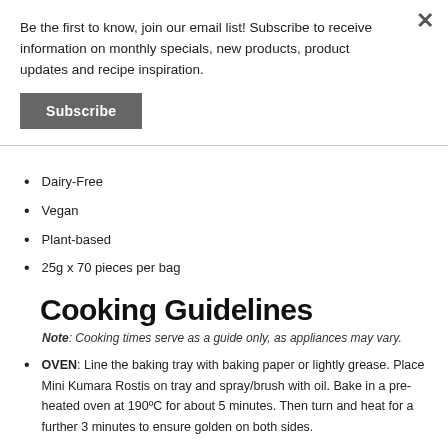Be the first to know, join our email list! Subscribe to receive information on monthly specials, new products, product updates and recipe inspiration.
Subscribe
Dairy-Free
Vegan
Plant-based
25g x 70 pieces per bag
Cooking Guidelines
Note: Cooking times serve as a guide only, as appliances may vary.
OVEN: Line the baking tray with baking paper or lightly grease. Place Mini Kumara Rostis on tray and spray/brush with oil. Bake in a pre-heated oven at 190ºC for about 5 minutes. Then turn and heat for a further 3 minutes to ensure golden on both sides.